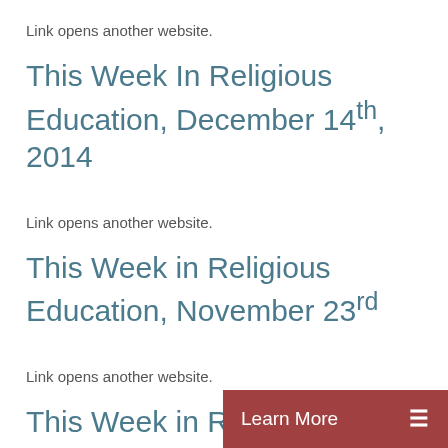Link opens another website.
This Week In Religious Education, December 14th, 2014
Link opens another website.
This Week in Religious Education, November 23rd
Link opens another website.
This Week in Religious Education, November 16th